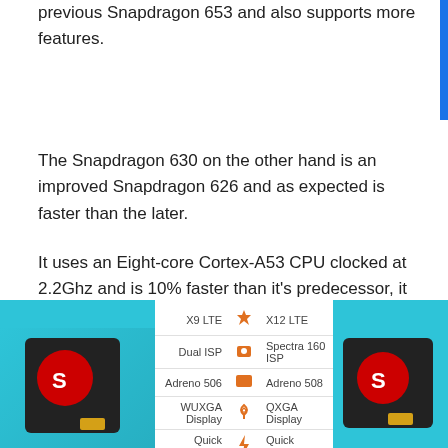previous Snapdragon 653 and also supports more features.
The Snapdragon 630 on the other hand is an improved Snapdragon 626 and as expected is faster than the later.
It uses an Eight-core Cortex-A53 CPU clocked at 2.2Ghz and is 10% faster than it's predecessor, it uses an Adreno 508 GPU which provides better graphics management with a 30% speed increase to the Snapdragon 626.
[Figure (infographic): Comparison infographic showing two Qualcomm Snapdragon chips side by side with specs: X9 LTE vs X12 LTE, Dual ISP vs Spectra 160 ISP, Adreno 506 vs Adreno 508, WUXGA Display vs QXGA Display, Quick Charge 3.0 vs Quick Charge 4]